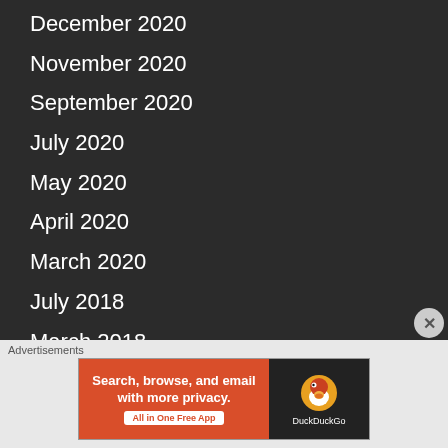December 2020
November 2020
September 2020
July 2020
May 2020
April 2020
March 2020
July 2018
March 2018
December 2017
November 2017
October 2017
September 2017
August 2017
[Figure (screenshot): DuckDuckGo advertisement banner: 'Search, browse, and email with more privacy. All in One Free App' with DuckDuckGo logo on dark background.]